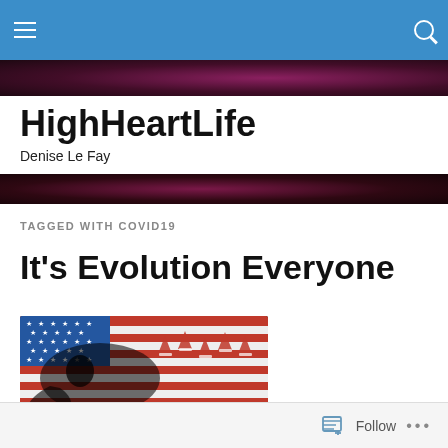HighHeartLife navigation bar
HighHeartLife
Denise Le Fay
TAGGED WITH COVID19
It's Evolution Everyone
[Figure (photo): Dinosaur skeleton skull overlaid with American flag pattern (red, white, blue stars and stripes), with small Santa-hat figures in the background]
Follow